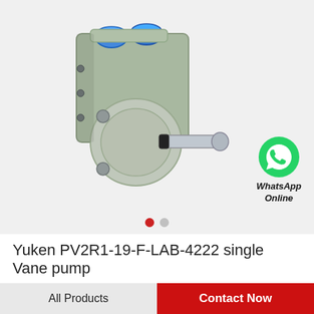[Figure (photo): Yuken PV2R1-19-F-LAB-4222 single vane hydraulic pump, grey/silver body with blue port caps and exposed shaft, photographed on white background]
[Figure (logo): WhatsApp green circle logo icon with white phone handset, labeled 'WhatsApp Online' in bold italic text below]
Yuken PV2R1-19-F-LAB-4222 single Vane pump
All Products | Contact Now